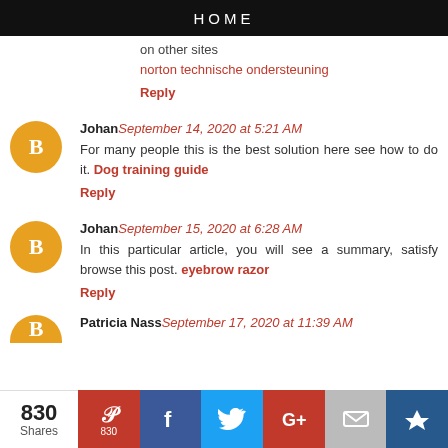HOME
on other sites
norton technische ondersteuning
Reply
Johan September 14, 2020 at 5:21 AM
For many people this is the best solution here see how to do it. Dog training guide
Reply
Johan September 15, 2020 at 6:28 AM
In this particular article, you will see a summary, satisfy browse this post. eyebrow razor
Reply
Patricia Nass September 17, 2020 at 11:39 AM